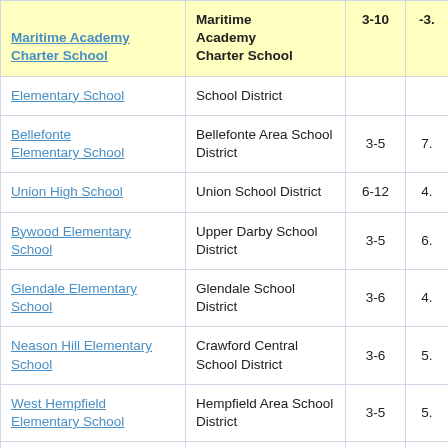| School | District | Grades | Score |
| --- | --- | --- | --- |
| Maritime Academy Charter School | Maritime Academy Charter School | 3-10 | -3. |
| Elementary School | School District |  |  |
| Bellefonte Elementary School | Bellefonte Area School District | 3-5 | 7. |
| Union High School | Union School District | 6-12 | 4. |
| Bywood Elementary School | Upper Darby School District | 3-5 | 6. |
| Glendale Elementary School | Glendale School District | 3-6 | 4. |
| Neason Hill Elementary School | Crawford Central School District | 3-6 | 5. |
| West Hempfield Elementary School | Hempfield Area School District | 3-5 | 5. |
| Ithan Elementary School | Radnor Township School District | 3-5 | 5. |